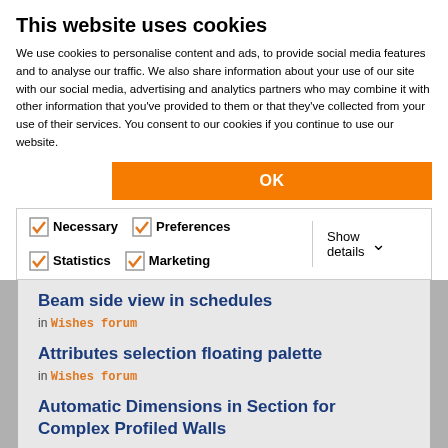This website uses cookies
We use cookies to personalise content and ads, to provide social media features and to analyse our traffic. We also share information about your use of our site with our social media, advertising and analytics partners who may combine it with other information that you've provided to them or that they've collected from your use of their services. You consent to our cookies if you continue to use our website.
OK
Necessary  Preferences  Statistics  Marketing  Show details
Beam side view in schedules
in Wishes forum
Attributes selection floating palette
in Wishes forum
Automatic Dimensions in Section for Complex Profiled Walls